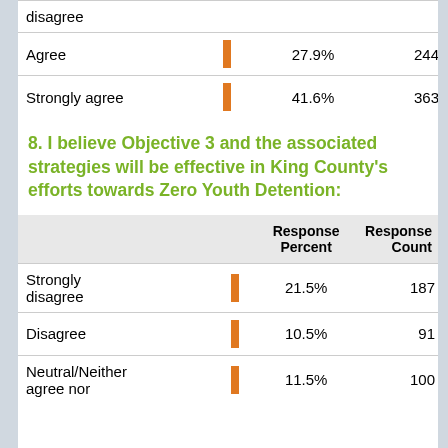|  |  | Response Percent | Response Count |
| --- | --- | --- | --- |
| disagree |  |  |  |
| Agree | ▌ | 27.9% | 244 |
| Strongly agree | ▌ | 41.6% | 363 |
8. I believe Objective 3 and the associated strategies will be effective in King County's efforts towards Zero Youth Detention:
|  |  | Response Percent | Response Count |
| --- | --- | --- | --- |
| Strongly disagree | ▌ | 21.5% | 187 |
| Disagree | ▌ | 10.5% | 91 |
| Neutral/Neither agree nor | ▌ | 11.5% | 100 |